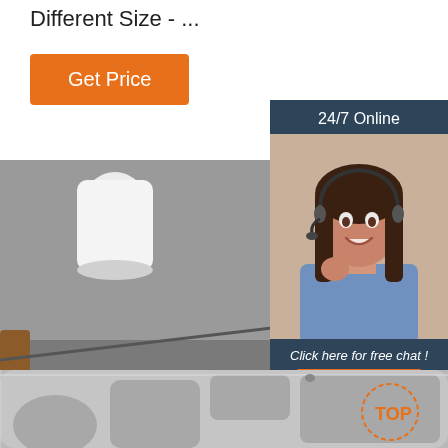Different Size - ...
Get Price
[Figure (photo): Stainless steel divided lunch tray/plate with multiple compartments on a gray surface with white cup in background]
[Figure (photo): 24/7 Online customer service chat widget showing smiling woman with headset, text 'Click here for free chat!' and QUOTATION button]
[Figure (photo): Close-up of stainless steel divided cafeteria tray with multiple square and round compartments, with TOP logo overlay]